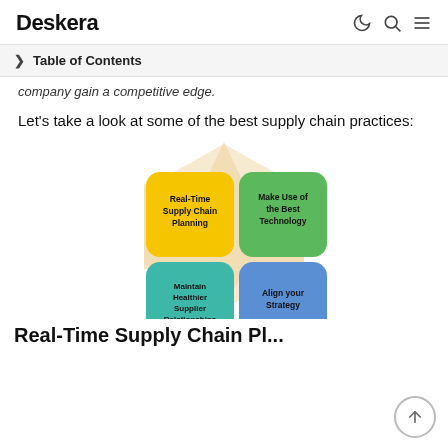Deskera
Table of Contents
company gain a competitive edge.
Let's take a look at some of the best supply chain practices:
[Figure (infographic): A 2x2 grid infographic with a diamond/plus shape background in light beige. Four colored rounded-rectangle boxes: top-left yellow 'Real-Time Supply Chain Planning', top-right green 'Make Use of the Best Technology', bottom-left teal 'Maintain Healthier Supplier Relationships', bottom-right blue 'Align your Strategy'.]
Real-Time Supply Chain Pl...